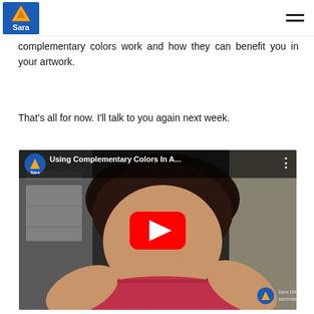Sara
complementary colors work and how they can benefit you in your artwork.
That's all for now. I'll talk to you again next week.
[Figure (screenshot): YouTube video thumbnail showing a woman with dark hair speaking to camera, with the title 'Using Complementary Colors In A...' and a red play button overlay. The video is from the Sara channel (sammakesart.com). Sara Milett sammakesart.com watermark visible in bottom right.]